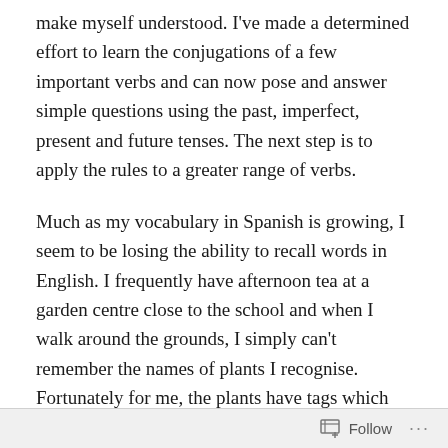make myself understood. I've made a determined effort to learn the conjugations of a few important verbs and can now pose and answer simple questions using the past, imperfect, present and future tenses. The next step is to apply the rules to a greater range of verbs.
Much as my vocabulary in Spanish is growing, I seem to be losing the ability to recall words in English. I frequently have afternoon tea at a garden centre close to the school and when I walk around the grounds, I simply can't remember the names of plants I recognise. Fortunately for me, the plants have tags which read the same in English as in Spanish (Begonia and Fuschia). Indeed, it strikes me that there are very many words in English that are similar in Spanish which must help to make Spanish one of the
Follow ···